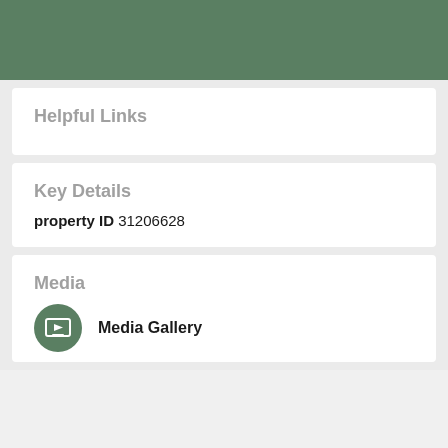[Figure (other): Green header banner at the top of the page]
Helpful Links
Key Details
property ID 31206628
Media
Media Gallery